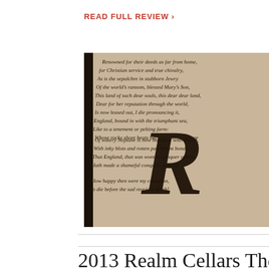READ FULL REVIEW >
[Figure (photo): Close-up photo of a wine bottle label showing a large decorative letter R and text from a poem, on a tan/cream background]
2013 Realm Cellars The